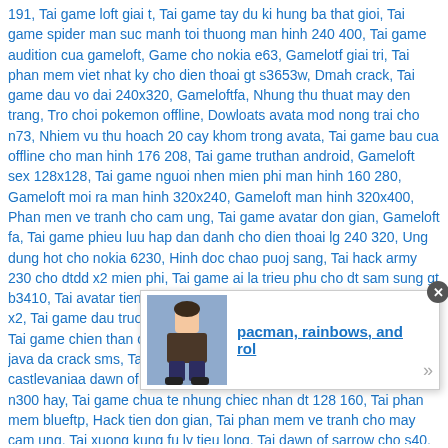191, Tai game loft giai t, Tai game tay du ki hung ba that gioi, Tai game spider man suc manh toi thuong man hinh 240 400, Tai game audition cua gameloft, Game cho nokia e63, Gamelotf giai tri, Tai phan mem viet nhat ky cho dien thoai gt s3653w, Dmah crack, Tai game dau vo dai 240x320, Gameloftfa, Nhung thu thuat may den trang, Tro choi pokemon offline, Dowloats avata mod nong trai cho n73, Nhiem vu thu hoach 20 cay khom trong avata, Tai game bau cua offline cho man hinh 176 208, Tai game truthan android, Gameloft sex 128x128, Tai game nguoi nhen mien phi man hinh 160 280, Gameloft moi ra man hinh 320x240, Gameloft man hinh 320x400, Phan men ve tranh cho cam ung, Tai game avatar don gian, Gameloft fa, Tai game phieu luu hap dan danh cho dien thoai lg 240 320, Ung dung hot cho nokia 6230, Hinh doc chao puoj sang, Tai hack army 230 cho dtdd x2 mien phi, Tai game ai la trieu phu cho dt sam sung gt b3410, Tai avatar tien loi, Tai game ca lon an ca nho mieng phi cho dt x2, Tai game dau truong 100 da rcack, Download pradators gt s3353, Tai game chien than cho 3110c, Top game xay dung nhan vat cho java da crack sms, Tai phan mem diet vifut cho dt java, Tai game castlevaniaa dawn of sorrow mh 128 160, Game avatar 220danh cho n300 hay, Tai game chua te nhung chiec nhan dt 128 160, Tai phan mem blueftp, Hack tien don gian, Tai phan mem ve tranh cho may cam ung, Tai xuong kung fu ly tieu long, Tai dawn of sarrow cho s40, Down game run man hinh 128, Tai game doodle jump 240x320, Taidoremonnobita, D0 ba d0 b0 d0 ba d1 81 d0 ba d0 b0 d1 87 d0 b0 d1 82 d1 8c d0 b0 d1 80 d1 82 d0 be d1 84 d0 b2 d0 b0 d1 80 d0 b4 d0 bb d1 8f d0 bd d0 be d0 ba d0 b8 d0 b0 6230, Down game avatar 191, Tai ninja095 quat tu but hp cho androi, Games castlevania crac, Tai game ban phi thuyen androi, Game castlevania crack sms auto click avatar 24 y cry tai ve, Taiava phi 320x240, chienco, Tai hack avatar189, Game viet hoa chien than ngoai truyen, Tai game avatar
[Figure (photo): Popup overlay with a small thumbnail image of a person and text link 'pacman, rainbows, and rol' with a close button and arrow]